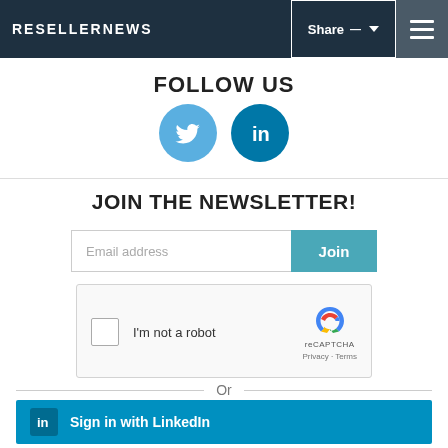RESELLERNEWS | Share | Menu
FOLLOW US
[Figure (illustration): Twitter bird icon (light blue circle) and LinkedIn 'in' icon (dark teal circle) side by side]
JOIN THE NEWSLETTER!
[Figure (screenshot): Email address input field with Join button and reCAPTCHA widget showing checkbox 'I'm not a robot']
Or
[Figure (screenshot): Sign in with LinkedIn button (blue background with LinkedIn logo)]